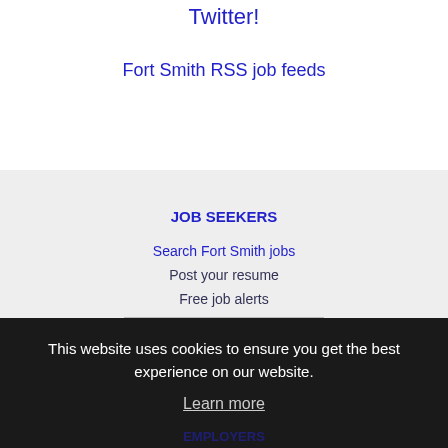Twitter!
Fort Smith RSS job feeds
JOB SEEKERS
Search Fort Smith jobs
Post your resume
Free job alerts
This website uses cookies to ensure you get the best experience on our website.
Learn more
Got it!
EMPLOYERS
Post jobs
Search resumes
Email resume alerts